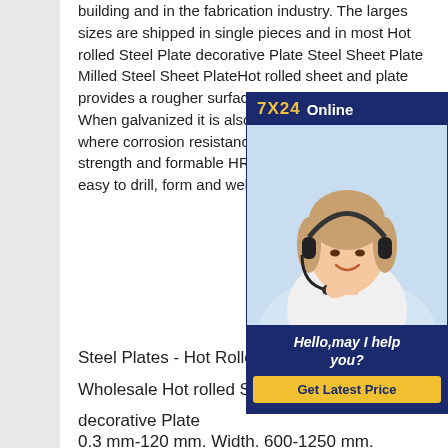building and in the fabrication industry. The larges sizes are shipped in single pieces and in most Hot rolled Steel Plate decorative Plate Steel Sheet Plate Milled Steel Sheet PlateHot rolled sheet and plate provides a rougher surface than cold rolled steel and. When galvanized it is also regularly in applications where corrosion resistance is a necessity. High strength and formable HR steel sheet and plate is easy to drill, form and weld.
[Figure (infographic): Customer service chat widget with '7X24 Online' header in navy blue and gold, photo of a woman with headset smiling, and 'Hello,may I help you?' text with a 'Get Latest Price' yellow button.]
Steel Plates - Hot Rolled Steel Plate
Wholesale Hot rolled Steel Plate
decorative Plate
0.3 mm-120 mm. Width. 600-1250 mm.